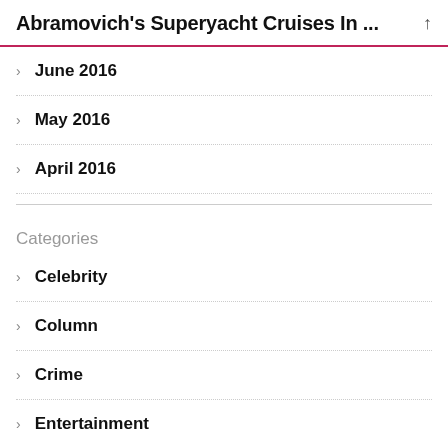Abramovich's Superyacht Cruises In ...
June 2016
May 2016
April 2016
Categories
Celebrity
Column
Crime
Entertainment
Imprint
News